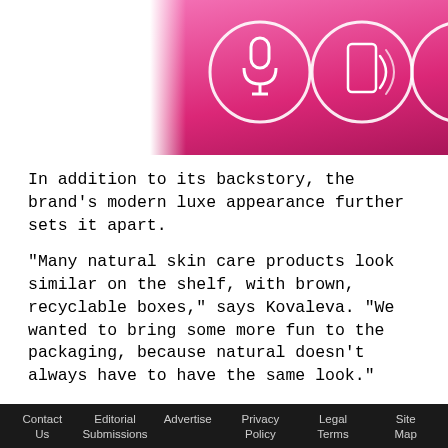[Figure (illustration): Pink and dark magenta gradient banner with three white circular icons: a microphone, a phone/NFC signal, and a play button.]
In addition to its backstory, the brand's modern luxe appearance further sets it apart.
“Many natural skin care products look similar on the shelf, with brown, recyclable boxes,” says Kovaleva. “We wanted to bring some more fun to the packaging, because natural doesn’t always have to have the same look.”
The pair collaborated with renowned illustrator Alena Lavdovskaya to create the artistic,
Contact Us   Editorial Submissions   Advertise   Privacy Policy   Legal Terms   Site Map